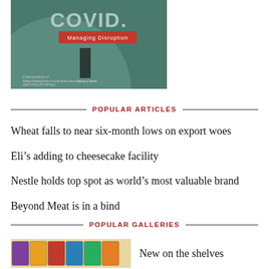[Figure (illustration): Book or magazine cover with dark teal background, large bold text reading 'COVID.' in grey, red banner below reading 'Managing Disruption', and small text at the bottom listing publication details.]
POPULAR ARTICLES
Wheat falls to near six-month lows on export woes
Eli's adding to cheesecake facility
Nestle holds top spot as world's most valuable brand
Beyond Meat is in a bind
POPULAR GALLERIES
[Figure (photo): Thumbnail image of colorful product packages on shelves]
New on the shelves